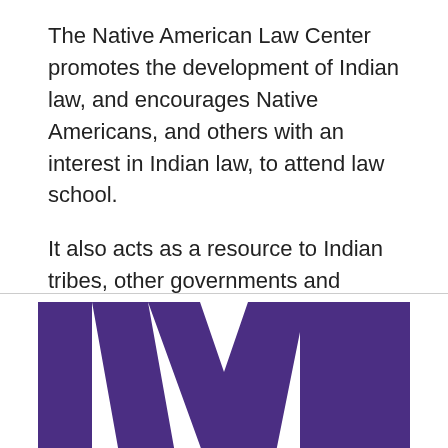The Native American Law Center promotes the development of Indian law, and encourages Native Americans, and others with an interest in Indian law, to attend law school.
It also acts as a resource to Indian tribes, other governments and individuals in the Pacific Northwest, Alaska and across the country.
[Figure (logo): University of Washington block W logo in purple on white background]